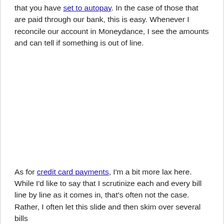that you have set to autopay. In the case of those that are paid through our bank, this is easy. Whenever I reconcile our account in Moneydance, I see the amounts and can tell if something is out of line.
As for credit card payments, I'm a bit more lax here. While I'd like to say that I scrutinize each and every bill line by line as it comes in, that's often not the case. Rather, I often let this slide and then skim over several bills